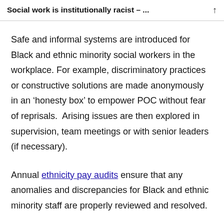Social work is institutionally racist – ...
Safe and informal systems are introduced for Black and ethnic minority social workers in the workplace. For example, discriminatory practices or constructive solutions are made anonymously in an ‘honesty box’ to empower POC without fear of reprisals.  Arising issues are then explored in supervision, team meetings or with senior leaders (if necessary).
Annual ethnicity pay audits ensure that any anomalies and discrepancies for Black and ethnic minority staff are properly reviewed and resolved.